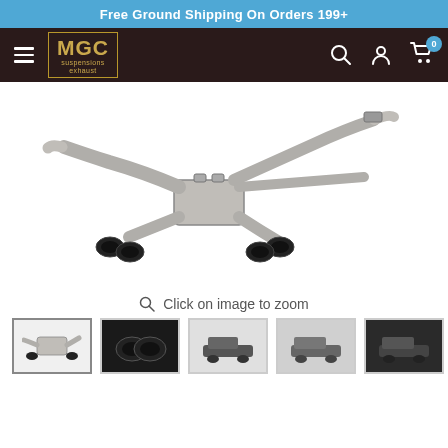Free Ground Shipping On Orders 199+
[Figure (logo): MGC Suspensions & Exhaust logo in gold on dark background with border]
[Figure (photo): Stainless steel cat-back exhaust system with black carbon fiber quad tips, showing pipes and muffler assembly]
Click on image to zoom
[Figure (photo): Thumbnail 1: Exhaust system product photo (active/selected)]
[Figure (photo): Thumbnail 2: Close-up of black exhaust tips]
[Figure (photo): Thumbnail 3: Car rear view]
[Figure (photo): Thumbnail 4: Car side view]
[Figure (photo): Thumbnail 5: Car side view dark]